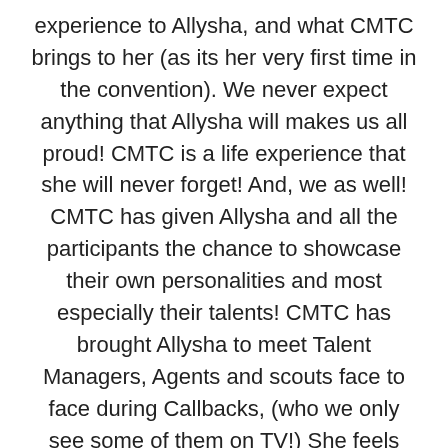experience to Allysha, and what CMTC brings to her (as its her very first time in the convention). We never expect anything that Allysha will makes us all proud! CMTC is a life experience that she will never forget! And, we as well! CMTC has given Allysha and all the participants the chance to showcase their own personalities and most especially their talents! CMTC has brought Allysha to meet Talent Managers, Agents and scouts face to face during Callbacks, (who we only see some of them on TV!) She feels like a celebrity at some point in her whole week with CMTC! We will share our experiences to everyone about CMTC!